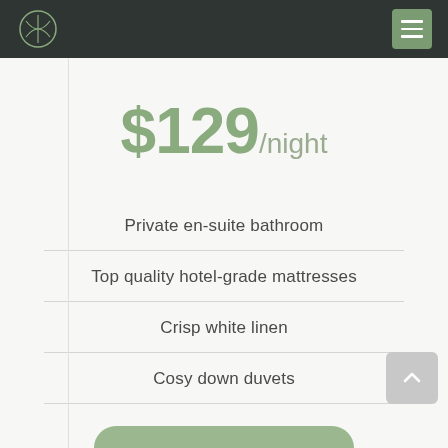Navigation header with logo and menu button
$129/night
Private en-suite bathroom
Top quality hotel-grade mattresses
Crisp white linen
Cosy down duvets